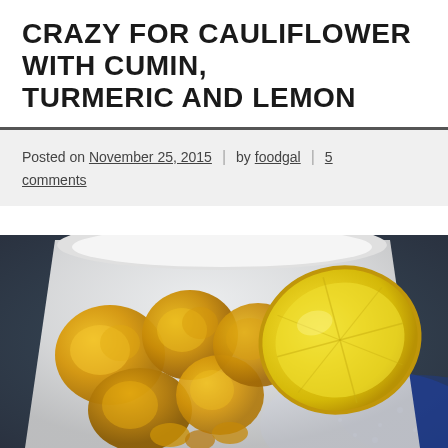CRAZY FOR CAULIFLOWER WITH CUMIN, TURMERIC AND LEMON
Posted on November 25, 2015 | by foodgal | 5 comments
[Figure (photo): A white serving bowl filled with golden turmeric-roasted cauliflower florets and a lemon wedge, set against a dark background with a blue patterned cloth.]